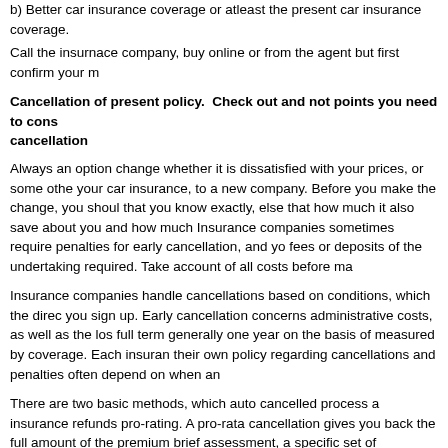b) Better car insurance coverage or atleast the present car insurance coverage.
Call the insurnace company, buy online or from the agent but first confirm your n
Cancellation of present policy.  Check out and not points you need to cons cancellation
Always an option change whether it is dissatisfied with your prices, or some othe your car insurance, to a new company. Before you make the change, you shoul that you know exactly, else that how much it also save about you and how much Insurance companies sometimes require penalties for early cancellation, and yo fees or deposits of the undertaking required. Take account of all costs before ma
Insurance companies handle cancellations based on conditions, which the direc you sign up. Early cancellation concerns administrative costs, as well as the los full term generally one year on the basis of measured by coverage. Each insuran their own policy regarding cancellations and penalties often depend on when an
There are two basic methods, which auto cancelled process a insurance refunds pro-rating. A pro-rata cancellation gives you back the full amount of the premium brief assessment, a specific set of reimbursement as a penalty for premature ter cancellation. If you have a 12 month policy and cancel after 3 months, you recei again 9 months worth of premium on one. If company briefly rating is the cancell this remaining bonus. The amount depends on the company policy. Short review early in the policy term, or at any time may apply.
Before you cancel issues you the companies that they use method and find out y